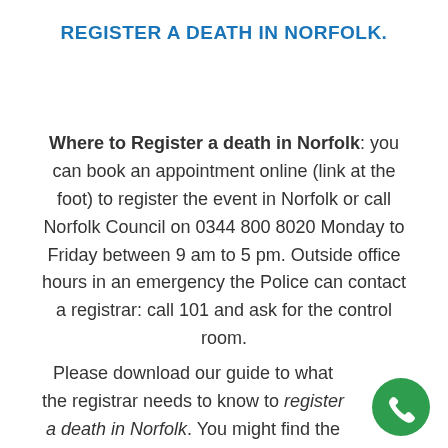REGISTER A DEATH IN NORFOLK.
Where to Register a death in Norfolk: you can book an appointment online (link at the foot) to register the event in Norfolk or call Norfolk Council on 0344 800 8020 Monday to Friday between 9 am to 5 pm. Outside office hours in an emergency the Police can contact a registrar: call 101 and ask for the control room.
Please download our guide to what the registrar needs to know to register a death in Norfolk. You might find the video